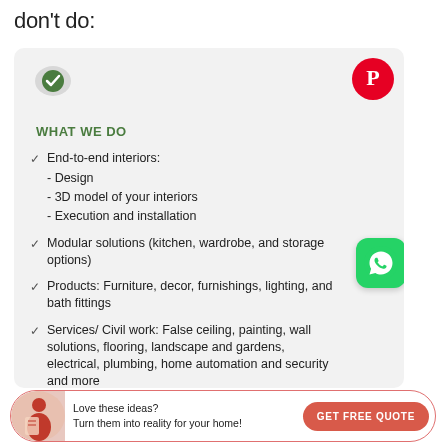don't do:
WHAT WE DO
End-to-end interiors: - Design - 3D model of your interiors - Execution and installation
Modular solutions (kitchen, wardrobe, and storage options)
Products: Furniture, decor, furnishings, lighting, and bath fittings
Services/ Civil work: False ceiling, painting, wall solutions, flooring, landscape and gardens, electrical, plumbing, home automation and security and more
Love these ideas? Turn them into reality for your home!
GET FREE QUOTE